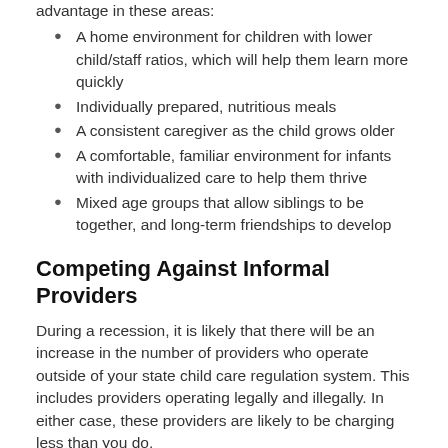advantage in these areas:
A home environment for children with lower child/staff ratios, which will help them learn more quickly
Individually prepared, nutritious meals
A consistent caregiver as the child grows older
A comfortable, familiar environment for infants with individualized care to help them thrive
Mixed age groups that allow siblings to be together, and long-term friendships to develop
Competing Against Informal Providers
During a recession, it is likely that there will be an increase in the number of providers who operate outside of your state child care regulation system. This includes providers operating legally and illegally. In either case, these providers are likely to be charging less than you do.
As you interview parents, promote your program using these techniques:
Emphasize the health and safety aspects of your program: "I am licensed, which means that my home has been